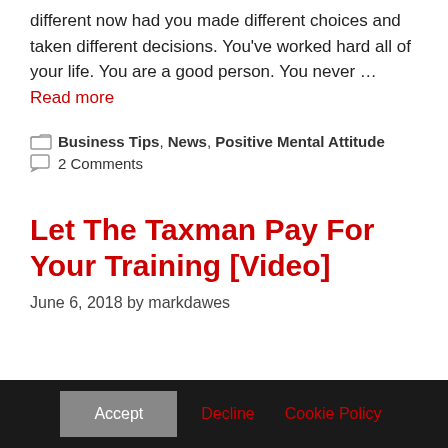different now had you made different choices and taken different decisions. You've worked hard all of your life. You are a good person. You never … Read more
Business Tips, News, Positive Mental Attitude
2 Comments
Let The Taxman Pay For Your Training [Video]
June 6, 2018 by markdawes
Accept  Decline  Cookie Policy